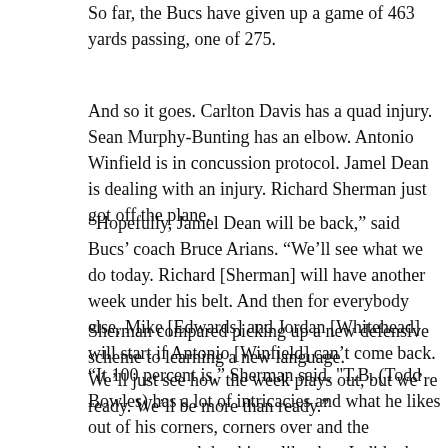So far, the Bucs have given up a game of 463 yards passing, one of 275.
And so it goes. Carlton Davis has a quad injury. Sean Murphy-Bunting has an elbow. Antonio Winfield is in concussion protocol. Jamel Dean is dealing with an injury. Richard Sherman just got off the plane.
“Hopefully, Jamel Dean will be back,” said Bucs’ coach Bruce Arians. “We’ll see what we do today. Richard [Sherman] will have another week under his belt. And then for everybody else, Mike [Edwards] and Jordan [Whitehead] will start if Antonio [Winfield] can’t come back. We’ll just see how the week plays out, but we’re ready. We’ll be more than ready.”
Sherman compared picking up a new defensive scheme to learning a new language.
“It 100 percent is,” Sherman said. "T.B. (Todd Bowles) has a lot of intricacies and what he likes out of his corners, corners over and the movements and the things like that. It did take a second. It took a lot of hours of just asking a ton of questions that may have been dumb for other guys to ask, but